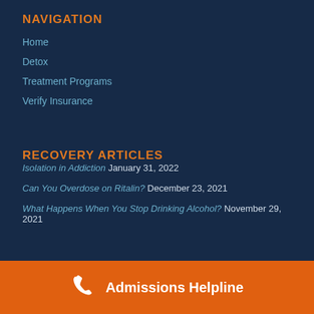NAVIGATION
Home
Detox
Treatment Programs
Verify Insurance
RECOVERY ARTICLES
Isolation in Addiction  January 31, 2022
Can You Overdose on Ritalin?  December 23, 2021
What Happens When You Stop Drinking Alcohol?  November 29, 2021
Admissions Helpline